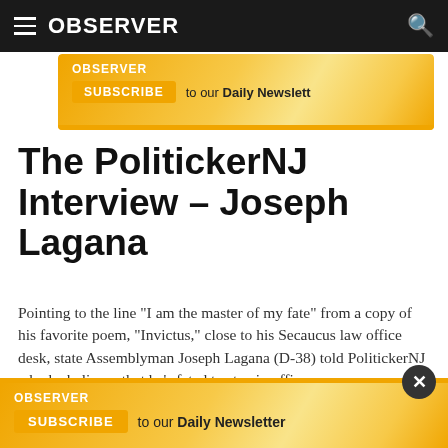OBSERVER
[Figure (infographic): Observer Subscribe to our Daily Newsletter banner advertisement - top]
The PolitickerNJ Interview – Joseph Lagana
Pointing to the line "I am the master of my fate" from a copy of his favorite poem, "Invictus," close to his Secaucus law office desk, state Assemblyman Joseph Lagana (D-38) told PolitickerNJ why he believes that he's fated to stay in office.
By Mark Bonamo · 04/29/15 8:24pm
[Figure (infographic): Observer Subscribe to our Daily Newsletter banner advertisement - bottom with close button]